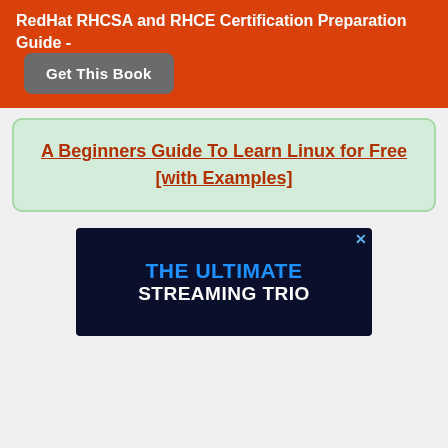RedHat RHCSA and RHCE Certification Preparation Guide - Get This Book
A Beginners Guide To Learn Linux for Free [with Examples]
[Figure (screenshot): Advertisement banner with dark navy background showing 'THE ULTIMATE STREAMING TRIO' text in blue and white, with close button (x) in top-right corner]